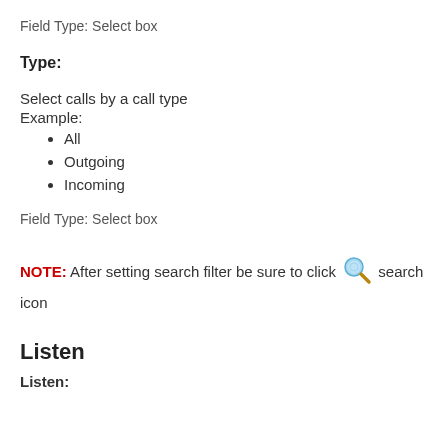Field Type: Select box
Type:
Select calls by a call type
Example:
All
Outgoing
Incoming
Field Type: Select box
NOTE: After setting search filter be sure to click [search icon] search icon
Listen
Listen: